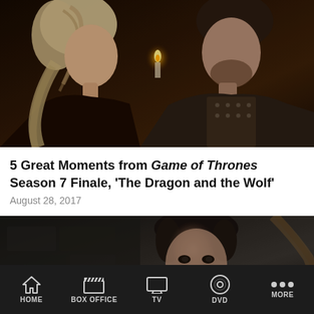[Figure (photo): Two characters from Game of Thrones facing each other — a blonde woman on the left and a dark-haired man in armor on the right, in a dimly lit scene with a candle in the background.]
5 Great Moments from Game of Thrones Season 7 Finale, 'The Dragon and the Wolf'
August 28, 2017
[Figure (photo): A dark-haired man with a beard in fur-collared armor, photographed in a dimly lit stone setting — Game of Thrones character Jon Snow.]
HOME   BOX OFFICE   TV   DVD   MORE